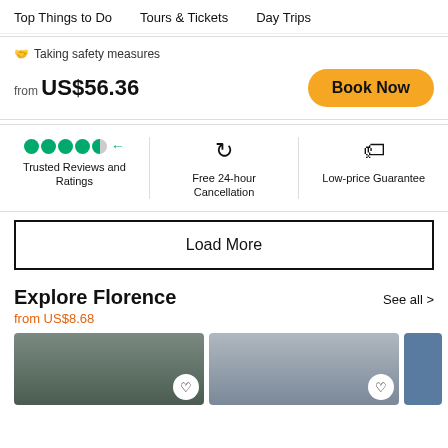Top Things to Do   Tours & Tickets   Day Trips
🛡 Taking safety measures
from US$56.36
Book Now
[Figure (other): Five green circles (star rating icons) with half-filled last and arrow icon, labeled Trusted Reviews and Ratings; refresh/cycle icon labeled Free 24-hour Cancellation; price tag icon labeled Low-price Guarantee]
Load More
Explore Florence
from US$8.68
See all >
[Figure (photo): Thumbnail photo of outdoor landscape under grey sky with heart icon button]
[Figure (photo): Thumbnail photo of building architecture with heart icon button]
[Figure (photo): Partial thumbnail of blue object]